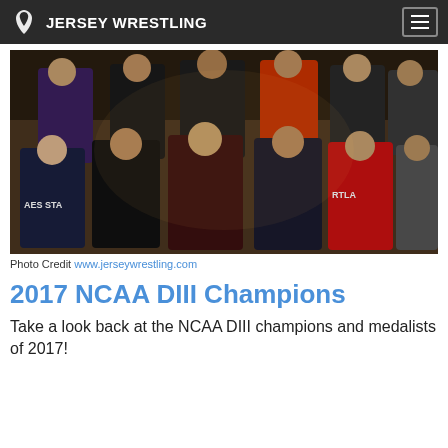JERSEY WRESTLING
[Figure (photo): Group photo of NCAA DIII wrestling champions and medalists, approximately 10 young men posed in two rows in a gymnasium setting wearing various team warm-ups.]
Photo Credit www.jerseywrestling.com
2017 NCAA DIII Champions
Take a look back at the NCAA DIII champions and medalists of 2017!